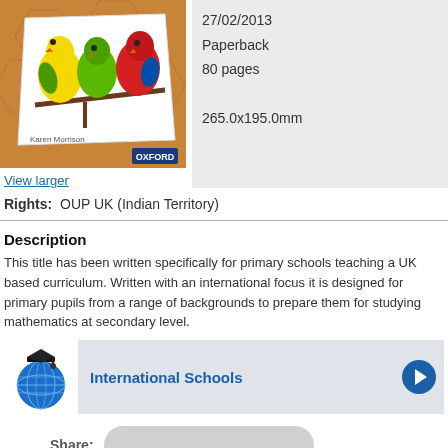[Figure (photo): Book cover showing three colorful parrots on a branch with Oxford logo, illustrated children's math book]
View larger
27/02/2013
Paperback
80 pages
265.0x195.0mm
Rights:  OUP UK (Indian Territory)
Description
This title has been written specifically for primary schools teaching a UK based curriculum. Written with an international focus it is designed for primary pupils from a range of backgrounds to prepare them for studying mathematics at secondary level.
[Figure (illustration): Globe with graduation cap icon for International Schools section]
International Schools
Share: